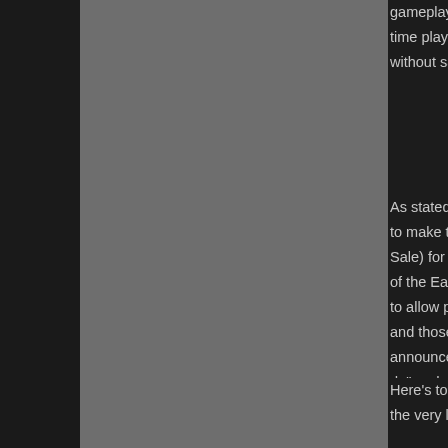gameplay more than auto-sell being imp... time players about my intelligent auto-bu... without said intelligence.
As stated above, MantisStyle is correct... to make the game more complicated. I d... Sale) for Early Access, - even late in the... of the Early Access program is not just to... to allow players to comment on broader... and those from the players' various pers... announcement video for Ashes of the Si... do" and goes on to emphasize the impo... know more than Soren Johnson and his... additional perspective about Stardock's i...
Here's to hoping a build will be released... the very least, even if not the default sta...